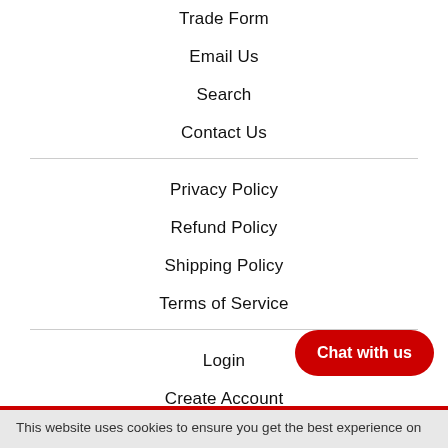Trade Form
Email Us
Search
Contact Us
Privacy Policy
Refund Policy
Shipping Policy
Terms of Service
Login
Create Account
View Cart
Chat with us
This website uses cookies to ensure you get the best experience on